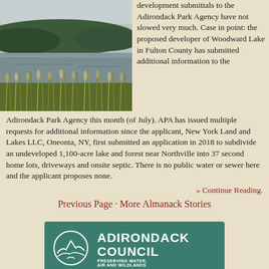[Figure (photo): Landscape photo of Woodward Lake with tall grasses in the foreground and forested hills in the background under an overcast sky.]
development submittals to the Adirondack Park Agency have not slowed very much. Case in point: the proposed developer of Woodward Lake in Fulton County has submitted additional information to the Adirondack Park Agency this month (of July). APA has issued multiple requests for additional information since the applicant, New York Land and Lakes LLC, Oneonta, NY, first submitted an application in 2018 to subdivide an undeveloped 1,100-acre lake and forest near Northville into 37 second home lots, driveways and onsite septic. There is no public water or sewer here and the applicant proposes none.
» Continue Reading.
Previous Page · More Almanack Stories
[Figure (logo): Adirondack Council logo — teal/green background with circular wave/mountain emblem and text ADIRONDACK COUNCIL PRESERVING WATER, AIR AND WILDLANDS]